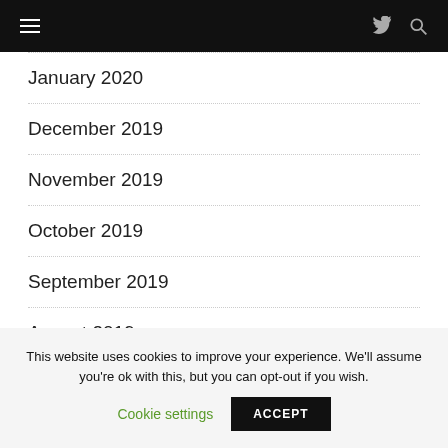Navigation bar with hamburger menu, Twitter icon, and search icon
January 2020
December 2019
November 2019
October 2019
September 2019
August 2019
This website uses cookies to improve your experience. We'll assume you're ok with this, but you can opt-out if you wish.
Cookie settings   ACCEPT